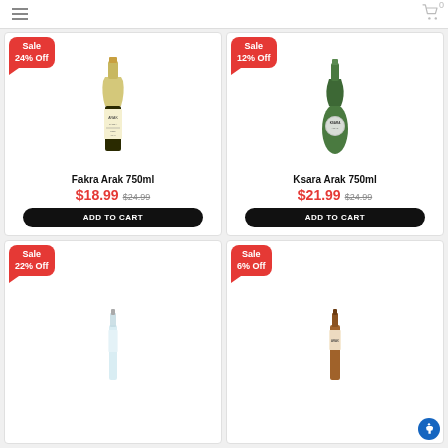Menu | Cart (0)
[Figure (photo): Bottle of Fakra Arak 750ml white wine bottle with Arabic label]
Fakra Arak 750ml
$18.99  $24.99
ADD TO CART
Sale 24% Off
[Figure (photo): Bottle of Ksara Arak 750ml green bottle with circular label]
Ksara Arak 750ml
$21.99  $24.99
ADD TO CART
Sale 12% Off
[Figure (photo): Partial bottle in bottom-left card, Sale 22% Off badge]
Sale 22% Off
[Figure (photo): Partial bottle in bottom-right card, Sale 6% Off badge]
Sale 6% Off